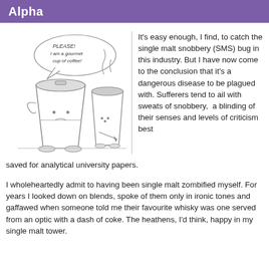Alpha
[Figure (illustration): Cartoon drawing of two coffee cups with faces. The large cup has a speech bubble reading 'PLEASE! I am a gourmet cup of coffee!' and the smaller cup stands next to it with steam rising.]
It's easy enough, I find, to catch the single malt snobbery (SMS) bug in this industry. But I have now come to the conclusion that it's a dangerous disease to be plagued with. Sufferers tend to ail with sweats of snobbery, a blinding of their senses and levels of criticism best saved for analytical university papers.
I wholeheartedly admit to having been single malt zombified myself. For years I looked down on blends, spoke of them only in ironic tones and gaffawed when someone told me their favourite whisky was one served from an optic with a dash of coke. The heathens, I'd think, happy in my single malt tower.